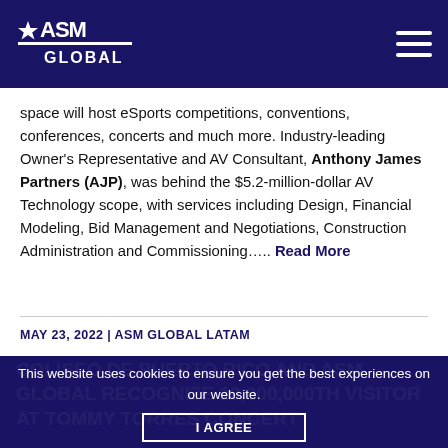ASM Global
space will host eSports competitions, conventions, conferences, concerts and much more. Industry-leading Owner's Representative and AV Consultant, Anthony James Partners (AJP), was behind the $5.2-million-dollar AV Technology scope, with services including Design, Financial Modeling, Bid Management and Negotiations, Construction Administration and Commissioning….. Read More
MAY 23, 2022 | ASM GLOBAL LATAM
COLISEO DE PUERTO RICO AND ASM GLOBAL RECOGNIZE 10,000,000TH VISITOR AT TOMMY TORRES CONCERT
This website uses cookies to ensure you get the best experiences on our website.
I AGREE